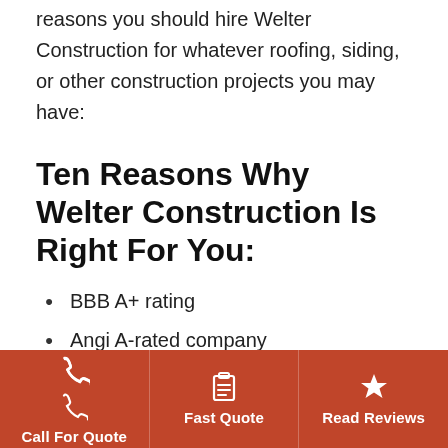our site. Still not convinced? Here are 10 more reasons you should hire Welter Construction for whatever roofing, siding, or other construction projects you may have:
Ten Reasons Why Welter Construction Is Right For You:
BBB A+ rating
Angi A-rated company
We are Insurance claim experts
Call For Quote | Fast Quote | Read Reviews